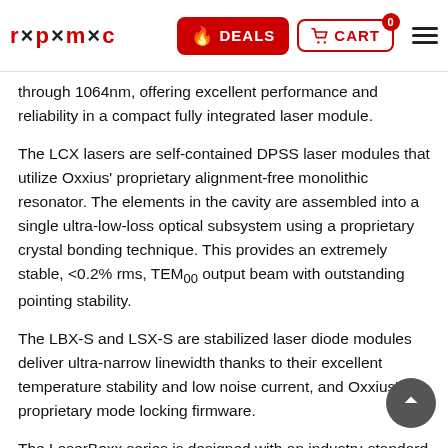rpmc DEALS CART (0) [menu]
through 1064nm, offering excellent performance and reliability in a compact fully integrated laser module.
The LCX lasers are self-contained DPSS laser modules that utilize Oxxius' proprietary alignment-free monolithic resonator. The elements in the cavity are assembled into a single ultra-low-loss optical subsystem using a proprietary crystal bonding technique. This provides an extremely stable, <0.2% rms, TEM00 output beam with outstanding pointing stability.
The LBX-S and LSX-S are stabilized laser diode modules deliver ultra-narrow linewidth thanks to their excellent temperature stability and low noise current, and Oxxius's proprietary mode locking firmware.
The LaserBoxx series is designed with an industry-standard footprint and comes standard with a user-